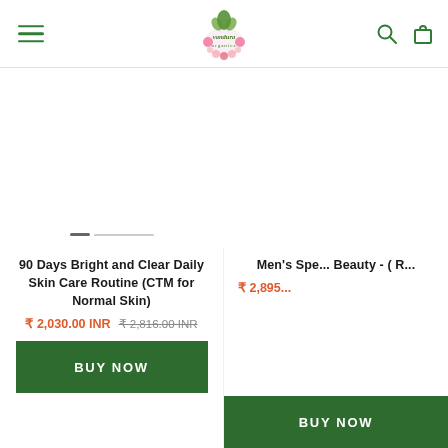Vandura Organics - Navigation header with hamburger menu, logo, search and cart icons
[Figure (logo): Vandura Organics logo with floral decoration and green text]
[Figure (photo): Product image area with slider dots for 90 Days Bright and Clear Daily Skin Care Routine]
90 Days Bright and Clear Daily Skin Care Routine (CTM for Normal Skin)
₹ 2,030.00 INR  ₹ 2,816.00 INR (strikethrough)
BUY NOW
[Figure (photo): Product image area for Men's Special Beauty product]
Men's Spe... Beauty - ( R...
₹ 2,895...